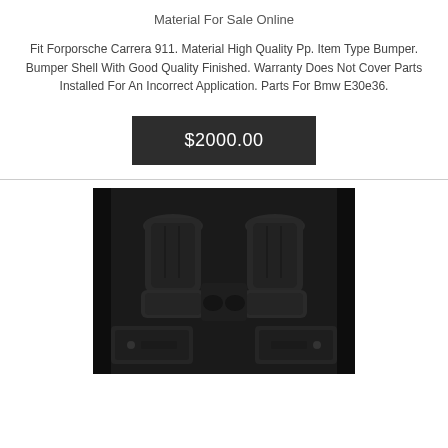Material For Sale Online
Fit Forporsche Carrera 911. Material High Quality Pp. Item Type Bumper. Bumper Shell With Good Quality Finished. Warranty Does Not Cover Parts Installed For An Incorrect Application. Parts For Bmw E30e36.
$2000.00
[Figure (photo): Photo of black leather car seats arranged in a set, including two front bucket seats (top) and what appears to be door panels and rear seat components (bottom), all in dark/black leather interior, photographed against a dark background.]